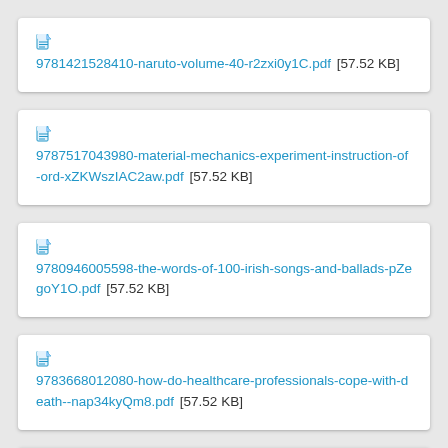9781421528410-naruto-volume-40-r2zxi0y1C.pdf [57.52 KB]
9787517043980-material-mechanics-experiment-instruction-of-ord-xZKWszIAC2aw.pdf [57.52 KB]
9780946005598-the-words-of-100-irish-songs-and-ballads-pZegoY1O.pdf [57.52 KB]
9783668012080-how-do-healthcare-professionals-cope-with-death--nap34kyQm8.pdf [57.52 KB]